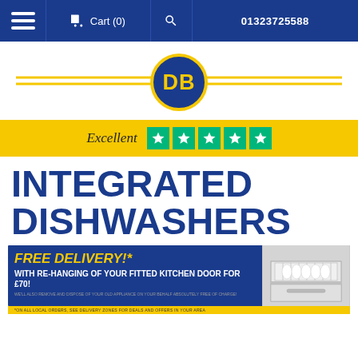Cart (0)  01323725588
[Figure (logo): DB logo: dark blue circle with yellow border showing 'DB' in yellow text, flanked by yellow horizontal lines on white background]
Excellent ★★★★★
INTEGRATED DISHWASHERS
[Figure (infographic): Promotional banner: FREE DELIVERY!* WITH RE-HANGING OF YOUR FITTED KITCHEN DOOR FOR £70! We'll also remove and dispose of your old appliance on your behalf absolutely free of charge! *On all local orders, see delivery zones for deals and offers in your area. Image of open integrated dishwasher on right side.]